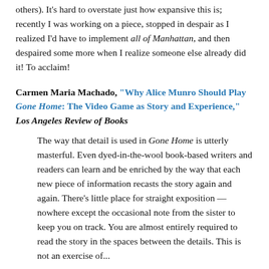others). It's hard to overstate just how expansive this is; recently I was working on a piece, stopped in despair as I realized I'd have to implement all of Manhattan, and then despaired some more when I realize someone else already did it! To acclaim!
Carmen Maria Machado, "Why Alice Munro Should Play Gone Home: The Video Game as Story and Experience," Los Angeles Review of Books
The way that detail is used in Gone Home is utterly masterful. Even dyed-in-the-wool book-based writers and readers can learn and be enriched by the way that each new piece of information recasts the story again and again. There's little place for straight exposition — nowhere except the occasional note from the sister to keep you on track. You are almost entirely required to read the story in the spaces between the details. This is not an exercise of...